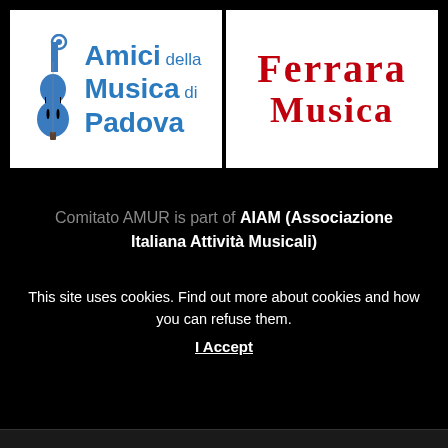[Figure (logo): Amici della Musica di Padova logo — blue cello/bass instrument graphic on left, blue text 'Amici della Musica di Padova' on right]
[Figure (logo): Ferrara Musica logo — large red serif bold text 'FERRARA MUSICA' on white background]
Comitato AMUR is part of AIAM (Associazione Italiana Attività Musicali)
This site uses cookies. Find out more about cookies and how you can refuse them. I Accept